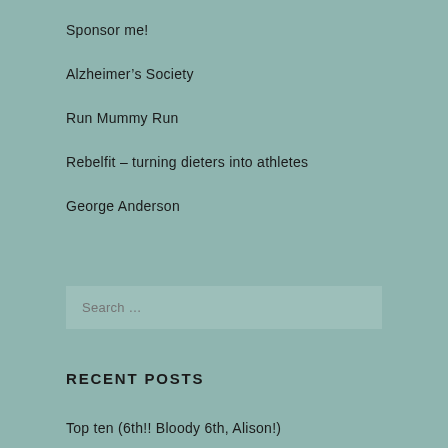Sponsor me!
Alzheimer's Society
Run Mummy Run
Rebelfit – turning dieters into athletes
George Anderson
Search …
RECENT POSTS
Top ten (6th!! Bloody 6th, Alison!)